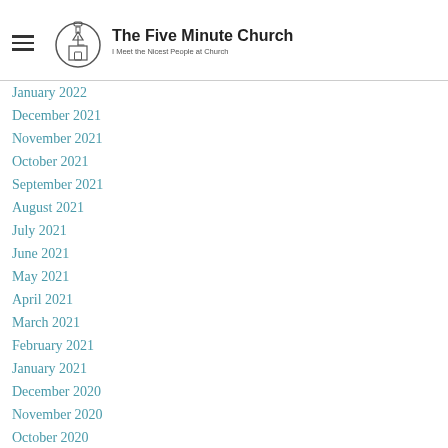The Five Minute Church — I Meet the Nicest People at Church
January 2022
December 2021
November 2021
October 2021
September 2021
August 2021
July 2021
June 2021
May 2021
April 2021
March 2021
February 2021
January 2021
December 2020
November 2020
October 2020
September 2020
August 2020